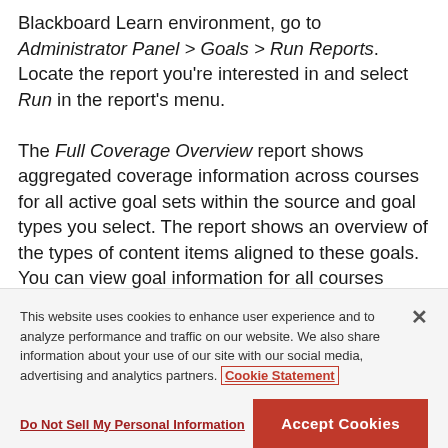Blackboard Learn environment, go to Administrator Panel > Goals > Run Reports. Locate the report you're interested in and select Run in the report's menu.

The Full Coverage Overview report shows aggregated coverage information across courses for all active goal sets within the source and goal types you select. The report shows an overview of the types of content items aligned to these goals. You can view goal information for all courses within the system, all available courses, or all unavailable
This website uses cookies to enhance user experience and to analyze performance and traffic on our website. We also share information about your use of our site with our social media, advertising and analytics partners. Cookie Statement
Do Not Sell My Personal Information
Accept Cookies